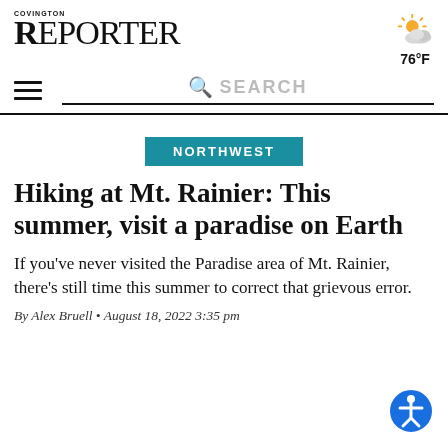COVINGTON REPORTER
[Figure (illustration): Partly cloudy weather icon with sun and clouds, showing 76°F temperature]
[Figure (infographic): Navigation bar with hamburger menu and search bar]
NORTHWEST
Hiking at Mt. Rainier: This summer, visit a paradise on Earth
If you've never visited the Paradise area of Mt. Rainier, there's still time this summer to correct that grievous error.
By Alex Bruell • August 18, 2022 3:35 pm